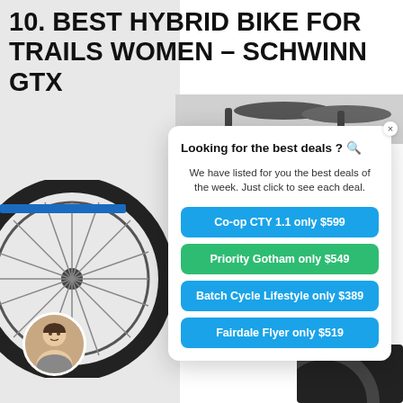10. BEST HYBRID BIKE FOR TRAILS WOMEN – SCHWINN GTX
[Figure (photo): Photo of a hybrid bike wheel/tire visible on the left side of the page, with a circular avatar photo of a man at the bottom left]
Looking for the best deals ? 🔍
We have listed for you the best deals of the week. Just click to see each deal.
Co-op CTY 1.1 only $599
Priority Gotham only $549
Batch Cycle Lifestyle only $389
Fairdale Flyer only $519